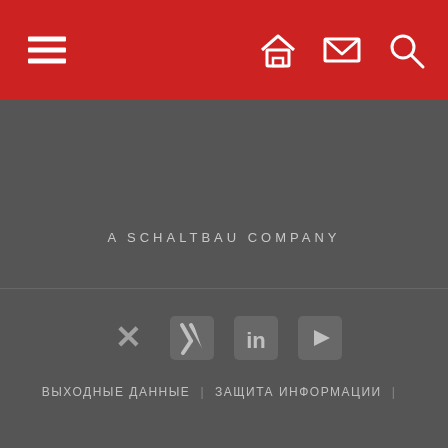[Figure (screenshot): Red navigation bar with hamburger menu icon on the left and home, mail, search icons on the right]
A SCHALTBAU COMPANY
[Figure (infographic): Social media icons: Xing, LinkedIn, YouTube]
ВЫХОДНЫЕ ДАННЫЕ | ЗАЩИТА ИНФОРМАЦИИ |